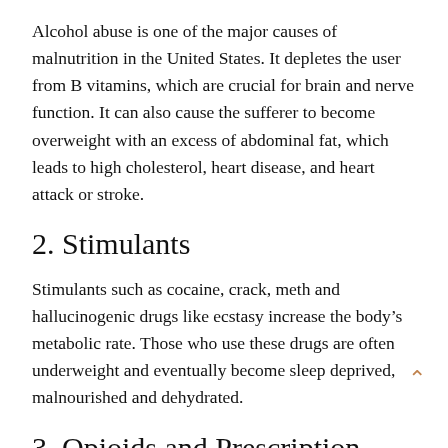Alcohol abuse is one of the major causes of malnutrition in the United States. It depletes the user from B vitamins, which are crucial for brain and nerve function. It can also cause the sufferer to become overweight with an excess of abdominal fat, which leads to high cholesterol, heart disease, and heart attack or stroke.
2. Stimulants
Stimulants such as cocaine, crack, meth and hallucinogenic drugs like ecstasy increase the body’s metabolic rate. Those who use these drugs are often underweight and eventually become sleep deprived, malnourished and dehydrated.
3. Opioids and Prescription Drugs
These are central nervous system depressants that slow...